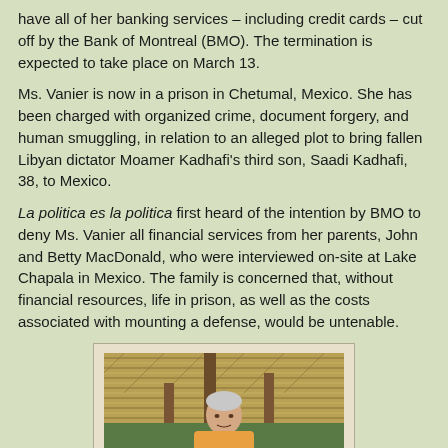have all of her banking services – including credit cards – cut off by the Bank of Montreal (BMO). The termination is expected to take place on March 13.
Ms. Vanier is now in a prison in Chetumal, Mexico. She has been charged with organized crime, document forgery, and human smuggling, in relation to an alleged plot to bring fallen Libyan dictator Moamer Kadhafi's third son, Saadi Kadhafi, 38, to Mexico.
La politica es la politica first heard of the intention by BMO to deny Ms. Vanier all financial services from her parents, John and Betty MacDonald, who were interviewed on-site at Lake Chapala in Mexico. The family is concerned that, without financial resources, life in prison, as well as the costs associated with mounting a defense, would be untenable.
[Figure (photo): An elderly man photographed outdoors under a thatched roof structure, appearing to be at Lake Chapala in Mexico.]